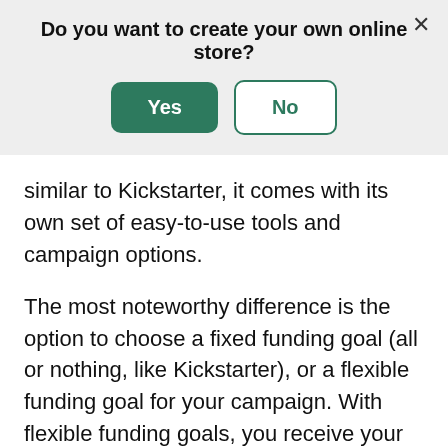Do you want to create your own online store?
[Figure (screenshot): Dialog box with Yes (green filled button) and No (green outlined button) options, and a close X button in the top right corner]
similar to Kickstarter, it comes with its own set of easy-to-use tools and campaign options.
The most noteworthy difference is the option to choose a fixed funding goal (all or nothing, like Kickstarter), or a flexible funding goal for your campaign. With flexible funding goals, you receive your funds regardless of whether you've met your goal by its deadline.
The flexible funding option is especially useful